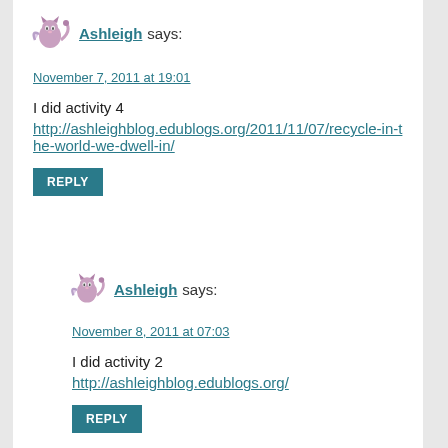Ashleigh says:
November 7, 2011 at 19:01
I did activity 4
http://ashleighblog.edublogs.org/2011/11/07/recycle-in-the-world-we-dwell-in/
REPLY
Ashleigh says:
November 8, 2011 at 07:03
I did activity 2
http://ashleighblog.edublogs.org/
REPLY